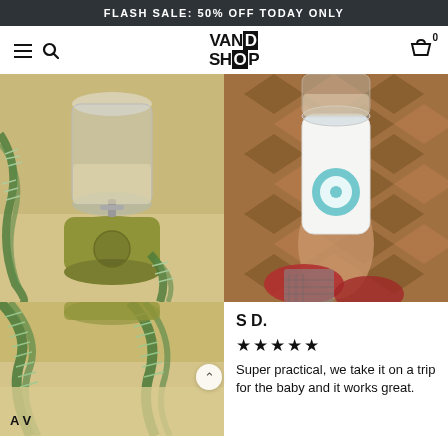FLASH SALE: 50% OFF TODAY ONLY
[Figure (logo): Navigation bar with hamburger menu, search icon, VAND SHOP logo, and cart icon with 0 badge]
[Figure (photo): Photo of a portable blender with yellow/olive base and clear plastic cup, surrounded by Christmas tinsel]
[Figure (photo): Photo of a white portable blender with teal/blue circular button being held over a wooden herringbone floor]
[Figure (photo): Continuation of left blender photo with Christmas tinsel, partially cut off]
S D.
★★★★★
Super practical, we take it on a trip for the baby and it works great.